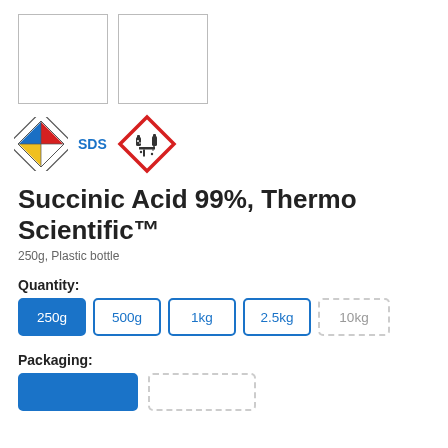[Figure (photo): Two empty white image boxes with grey borders (product images placeholder)]
[Figure (illustration): NFPA hazard diamond icon (blue, red, yellow, white quadrants), SDS text link in blue, and GHS corrosive hazard pictogram (diamond shape with red border, shows corrosion icon)]
Succinic Acid 99%, Thermo Scientific™
250g, Plastic bottle
Quantity:
250g
500g
1kg
2.5kg
10kg
Packaging: